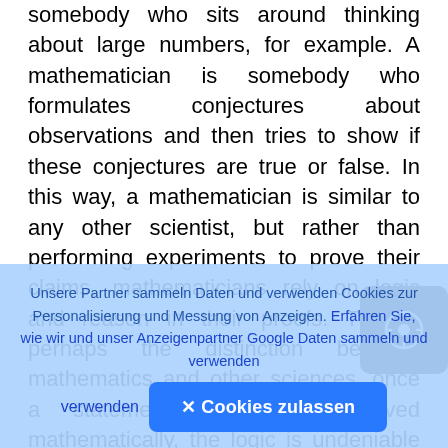somebody who sits around thinking about large numbers, for example. A mathematician is somebody who formulates conjectures about observations and then tries to show if these conjectures are true or false. In this way, a mathematician is similar to any other scientist, but rather than performing experiments to prove their claims, mathematicians rely on logic and reason in their proofs. This is perhaps the distinction between mathematics and other sciences, once a statement has been proved mathematically, the logic is undeniable and the statement will remain forever more; the conjecture has become a theorem. Perhaps the most familiar theorem of all is Pythagoras' theorem that relates the lengths of the
[Figure (other): A dark rounded-square button with a camera/navigation icon (circled arrow) on it, overlapping the main text.]
Unsere Partner sammeln Daten und verwenden Cookies zur Personalisierung und Messung von Anzeigen. Erfahren Sie, wie wir und unser Anzeigenpartner Google Daten sammeln und verwenden